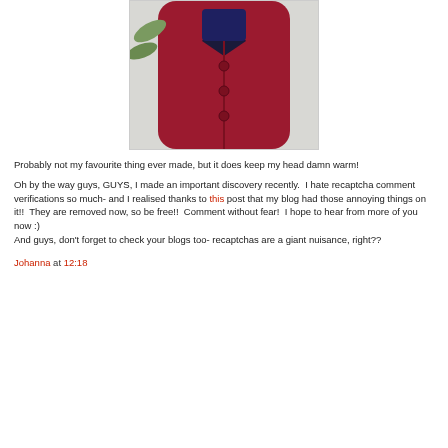[Figure (photo): Person wearing a red coat, partially visible, standing outdoors]
Probably not my favourite thing ever made, but it does keep my head damn warm!
Oh by the way guys, GUYS, I made an important discovery recently.  I hate recaptcha comment verifications so much- and I realised thanks to this post that my blog had those annoying things on it!!  They are removed now, so be free!!  Comment without fear!  I hope to hear from more of you now :)
And guys, don't forget to check your blogs too- recaptchas are a giant nuisance, right??
Johanna at 12:18